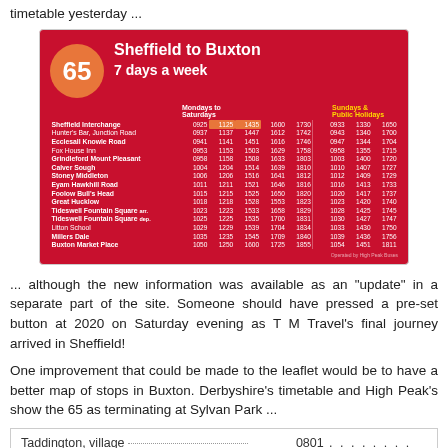timetable yesterday ...
[Figure (table-as-image): Bus timetable for route 65 Sheffield to Buxton 7 days a week, showing stops and departure times for Mondays to Saturdays and Sundays & Public Holidays]
... although the new information was available as an "update" in a separate part of the site. Someone should have pressed a pre-set button at 2020 on Saturday evening as T M Travel's final journey arrived in Sheffield!
One improvement that could be made to the leaflet would be to have a better map of stops in Buxton. Derbyshire's timetable and High Peak's show the 65 as terminating at Sylvan Park ...
| Stop | Time | ... |
| --- | --- | --- |
| Taddington, village | 0801 | . . . .    . . . . |